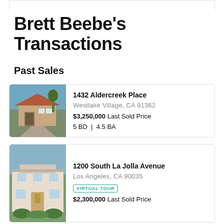Brett Beebe's Transactions
Past Sales
[Figure (photo): Exterior photo of 1432 Aldercreek Place, a Mediterranean-style house with tile roof]
1432 Aldercreek Place
Westlake Village, CA 91362
$3,250,000 Last Sold Price
5 BD | 4.5 BA
[Figure (photo): Exterior photo of 1200 South La Jolla Avenue, a white stucco house]
1200 South La Jolla Avenue
Los Angeles, CA 90035
VIRTUAL TOUR
$2,300,000 Last Sold Price